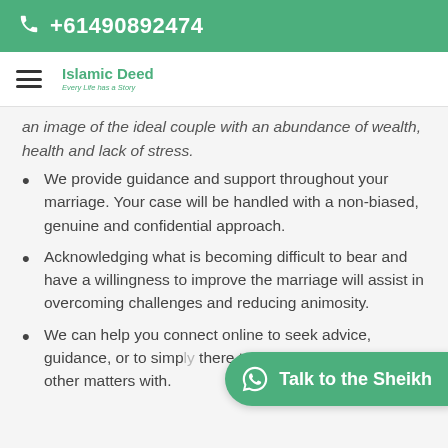+61490892474
[Figure (logo): Islamic Deed logo with tagline]
an image of the ideal couple with an abundance of wealth, health and lack of stress.
We provide guidance and support throughout your marriage. Your case will be handled with a non-biased, genuine and confidential approach.
Acknowledging what is becoming difficult to bear and have a willingness to improve the marriage will assist in overcoming challenges and reducing animosity.
We can help you connect online to seek advice, guidance, or to simply there to discuss personal or other matters with.
[Figure (other): WhatsApp Talk to the Sheikh floating button]